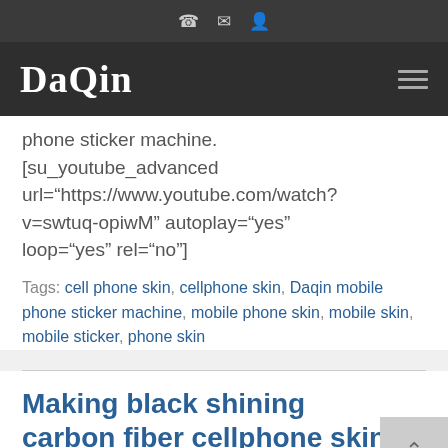☎ ✉ 👤
DaQin ≡
phone sticker machine.
[su_youtube_advanced url="https://www.youtube.com/watch?v=swtuq-opiwM" autoplay="yes" loop="yes" rel="no"]
Tags: cell phone skin, cellphone skin, Daqin mobile phone sticker machine, mobile phone skin, mobile skin, mobile sticker, phone skin
Making black shining carbon fiber cellphone skin